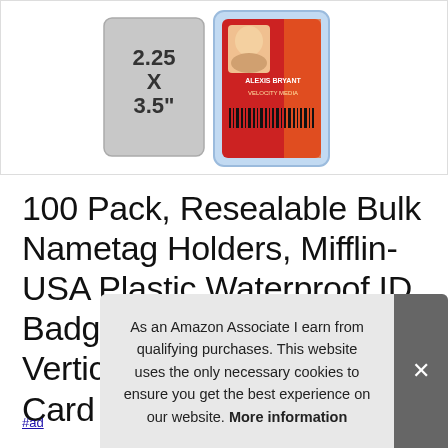[Figure (photo): Product photo of a clear plastic vertical ID badge holder showing a sample badge with 'ALEXIS BRYANT / VELOCITY MEDIA' and a barcode, with dimension callout '2.25 X 3.5"']
100 Pack, Resealable Bulk Nametag Holders, Mifflin-USA Plastic Waterproof ID Badge Holders Clear, Vertical Hanging Name Card Holder wi…
#ad
As an Amazon Associate I earn from qualifying purchases. This website uses the only necessary cookies to ensure you get the best experience on our website. More information